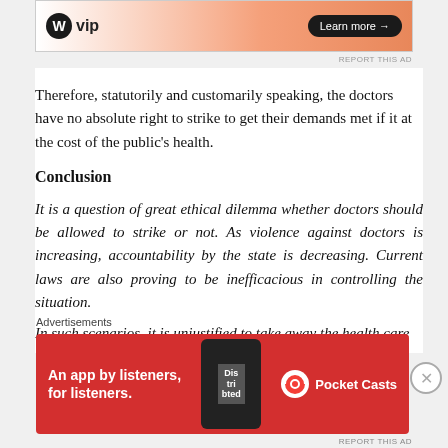[Figure (other): WordPress VIP advertisement banner with 'Learn more' button, gradient orange background]
Therefore, statutorily and customarily speaking, the doctors have no absolute right to strike to get their demands met if it at the cost of the public's health.
Conclusion
It is a question of great ethical dilemma whether doctors should be allowed to strike or not. As violence against doctors is increasing, accountability by the state is decreasing. Current laws are also proving to be inefficacious in controlling the situation.
In such scenarios, it is unjustified to take away the health care
[Figure (other): Pocket Casts advertisement: red background with 'An app by listeners, for listeners.' text and app phone image]